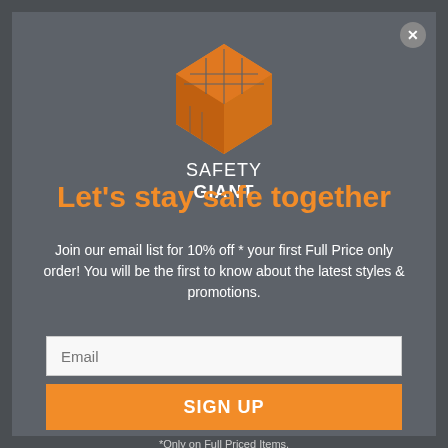[Figure (logo): Safety Giant logo — orange hexagon building icon with white text SAFETY GIANT]
Let's stay safe together
Join our email list for 10% off * your first Full Price only order! You will be the first to know about the latest styles & promotions.
Email
SIGN UP
*Only on Full Priced Items.